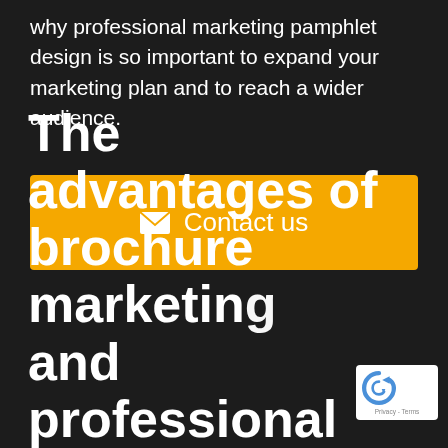why professional marketing pamphlet design is so important to expand your marketing plan and to reach a wider audience.
[Figure (other): Yellow 'Contact us' button with envelope icon]
The advantages of brochure marketing and professional